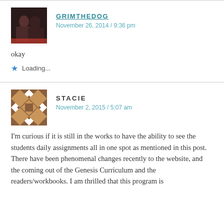GRIMTHEDOG
November 26, 2014 / 9:36 pm
okay
Loading...
STACIE
November 2, 2015 / 5:07 am
I'm curious if it is still in the works to have the ability to see the students daily assignments all in one spot as mentioned in this post. There have been phenomenal changes recently to the website, and the coming out of the Genesis Curriculum and the readers/workbooks. I am thrilled that this program is